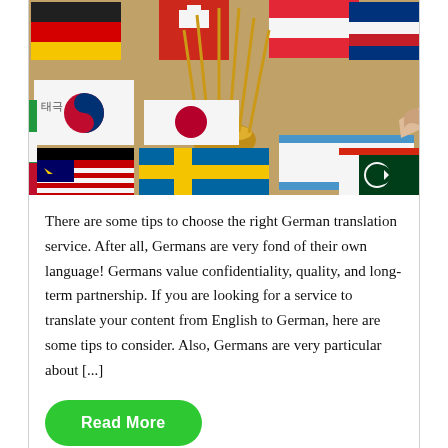[Figure (photo): A photo showing many international flags from different countries laid out flat and displayed on sticks, including flags of Germany, South Korea, Sweden, Israel, Japan, Switzerland, Australia, China, Malaysia, Pakistan, and others, with a golden trophy-like stand holding several flag poles in the center.]
There are some tips to choose the right German translation service. After all, Germans are very fond of their own language! Germans value confidentiality, quality, and long-term partnership. If you are looking for a service to translate your content from English to German, here are some tips to consider. Also, Germans are very particular about [...]
Read More